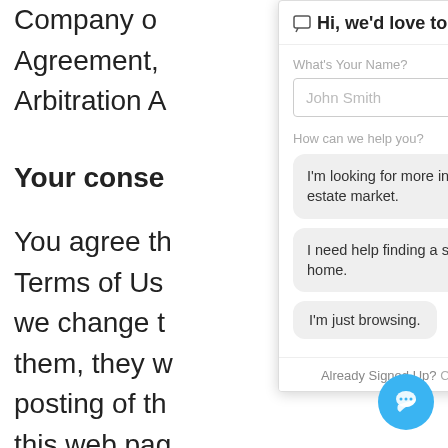Company of Agreement, Arbitration A
Your conse
You agree th Terms of Use If we change t f them, they w posting of th n this web pag have actual review our Terms of Use and Privacy Policy periodically for changes. Additionally, you a that any use of the website following our publication of any changes to these Terms of
[Figure (screenshot): Chat widget overlay with title 'Hi, we'd love to chat!', name input field with placeholder 'John Smith', help topic label 'How can we help you?' and three option buttons: 'I'm looking for more info on the real estate market.', 'I need help finding a specific type of home.', 'I'm just browsing.' Footer has 'Already Signed Up? Click here to login.']
[Figure (other): Blue circular chat bubble button icon in bottom right corner]